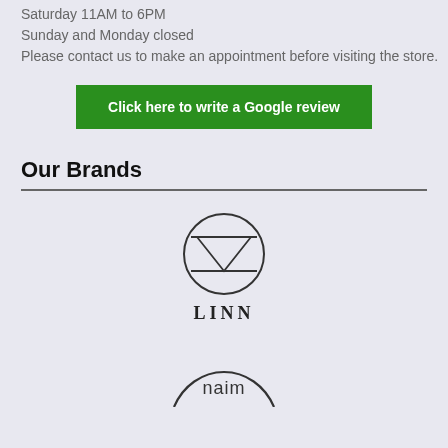Saturday 11AM to 6PM
Sunday and Monday closed
Please contact us to make an appointment before visiting the store.
Click here to write a Google review
Our Brands
[Figure (logo): Linn audio brand logo: circle with triangle and horizontal lines, text LINN below]
[Figure (logo): Naim audio brand logo: arc shape with text 'naim' inside]